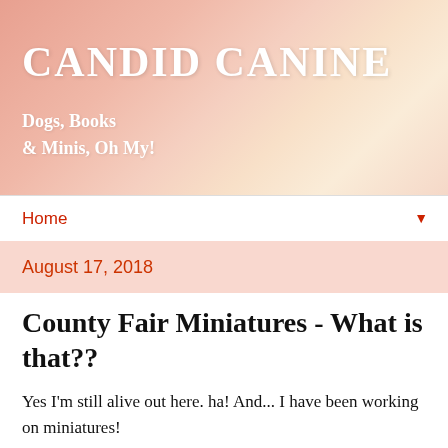CANDID CANINE
Dogs, Books & Minis, Oh My!
Home ▼
August 17, 2018
County Fair Miniatures - What is that??
Yes I'm still alive out here. ha! And... I have been working on miniatures!
It's County Fair Time, so Something New:
What in the world is that thing you ask???? Well....